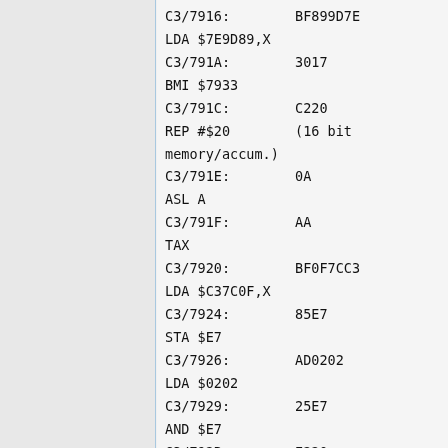C3/7916:        BF899D7E
LDA $7E9D89,X
C3/791A:        3017
BMI $7933
C3/791C:        C220
REP #$20        (16 bit memory/accum.)
C3/791E:        0A
ASL A
C3/791F:        AA
TAX
C3/7920:        BF0F7CC3
LDA $C37C0F,X
C3/7924:        85E7
STA $E7
C3/7926:        AD0202
LDA $0202
C3/7929:        25E7
AND $E7
C3/792B:        E220
SEP #$20        (8 bit memory/accum.)
C3/792D:        F004
BEQ $7933
C3/792F:        A9FF